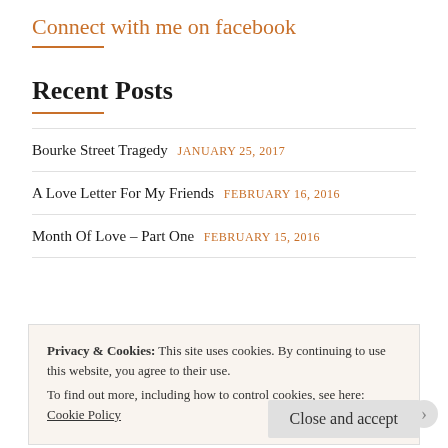Connect with me on facebook
Recent Posts
Bourke Street Tragedy JANUARY 25, 2017
A Love Letter For My Friends FEBRUARY 16, 2016
Month Of Love – Part One FEBRUARY 15, 2016
Privacy & Cookies: This site uses cookies. By continuing to use this website, you agree to their use.
To find out more, including how to control cookies, see here: Cookie Policy